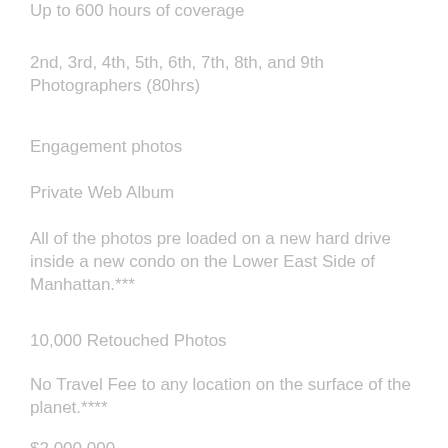Up to 600 hours of coverage
2nd, 3rd, 4th, 5th, 6th, 7th, 8th, and 9th Photographers (80hrs)
Engagement photos
Private Web Album
All of the photos pre loaded on a new hard drive inside a new condo on the Lower East Side of Manhattan.***
10,000 Retouched Photos
No Travel Fee to any location on the surface of the planet.****
$2,000,000